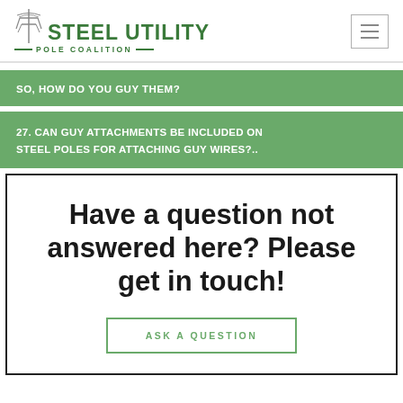[Figure (logo): Steel Utility Pole Coalition logo with a utility pole icon above the text]
SO, HOW DO YOU GUY THEM?
27. CAN GUY ATTACHMENTS BE INCLUDED ON STEEL POLES FOR ATTACHING GUY WIRES?..
Have a question not answered here? Please get in touch!
ASK A QUESTION